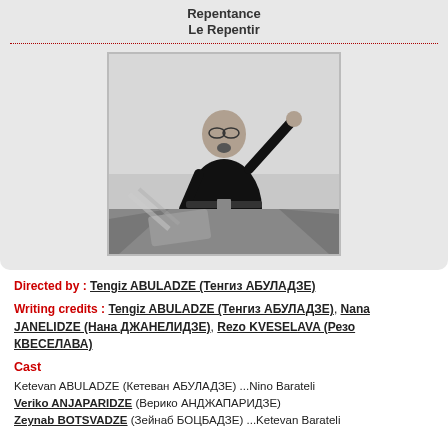Repentance
Le Repentir
[Figure (photo): Black and white photo of a man in dark clothing with one arm raised, appearing to speak or sing passionately, with objects in the background.]
Directed by : Tengiz ABULADZE (Тенгиз АБУЛАДЗЕ)
Writing credits : Tengiz ABULADZE (Тенгиз АБУЛАДЗЕ), Nana JANELIDZE (Нана ДЖАНЕЛИДЗЕ), Rezo KVESELAVA (Резо КВЕСЕЛАВА)
Cast
Ketevan ABULADZE (Кетеван АБУЛАДЗЕ) ...Nino Barateli
Veriko ANJAPARIDZE (Верико АНДЖАПАРИДЗЕ)
Zeynab BOTSVADZE (Зейнаб БОЦБАДЗЕ) ...Ketevan Barateli